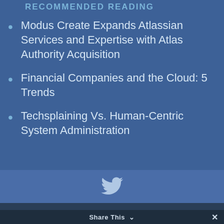RECOMMENDED READING
Modus Create Expands Atlassian Services and Expertise with Atlas Authority Acquisition
Financial Companies and the Cloud: 5 Trends
Techsplaining Vs. Human-Centric System Administration
[Figure (illustration): Twitter bird icon in light blue/white]
Copyright © 2020 Atlas Authority. Privacy Policy.
Share This